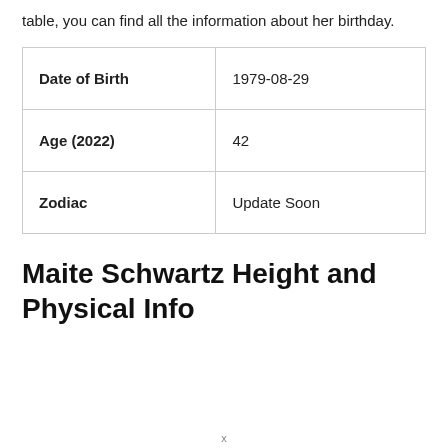table, you can find all the information about her birthday.
| Date of Birth | 1979-08-29 |
| Age (2022) | 42 |
| Zodiac | Update Soon |
Maite Schwartz Height and Physical Info